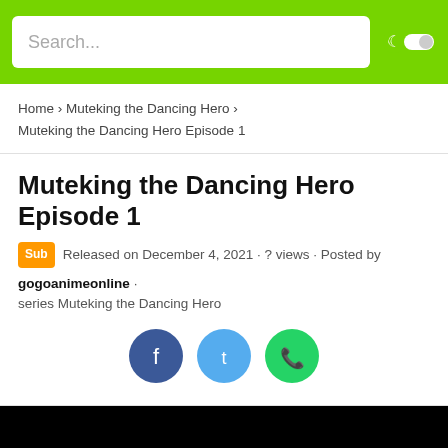Search...
Home › Muteking the Dancing Hero › Muteking the Dancing Hero Episode 1
Muteking the Dancing Hero Episode 1
Sub Released on December 4, 2021 · ? views · Posted by gogoanimeonline · series Muteking the Dancing Hero
[Figure (other): Three social share buttons: Facebook (dark blue circle), Twitter (light blue circle), WhatsApp (green circle)]
[Figure (other): Black video player area]